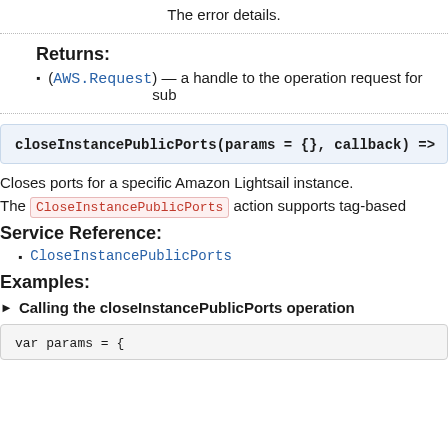The error details.
Returns:
(AWS.Request) — a handle to the operation request for sub
closeInstancePublicPorts(params = {}, callback) =>
Closes ports for a specific Amazon Lightsail instance.
The CloseInstancePublicPorts action supports tag-based
Service Reference:
CloseInstancePublicPorts
Examples:
▶ Calling the closeInstancePublicPorts operation
var params = {